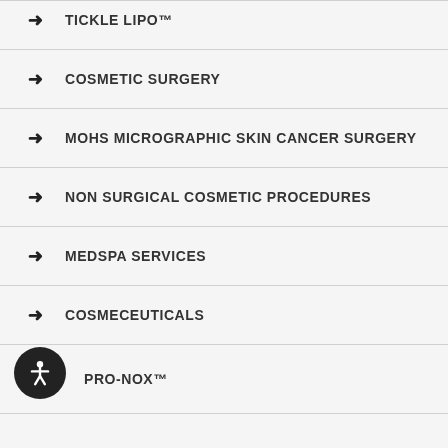TICKLE LIPO™
COSMETIC SURGERY
MOHS MICROGRAPHIC SKIN CANCER SURGERY
NON SURGICAL COSMETIC PROCEDURES
MEDSPA SERVICES
COSMECEUTICALS
PRO-NOX™